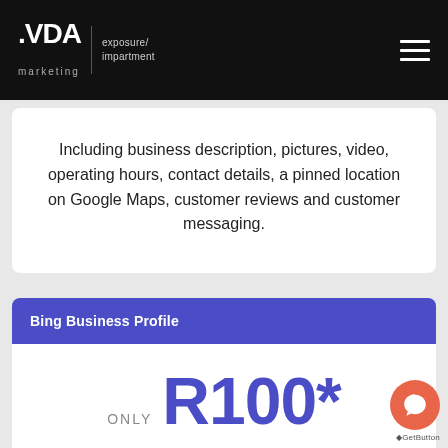.VDA marketing | exposure/impartment
Including business description, pictures, video, operating hours, contact details, a pinned location on Google Maps, customer reviews and customer messaging.
Bing Business Profile
ONLY R100*